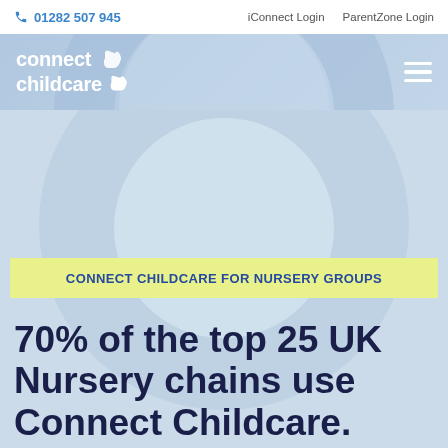01282 507 945   iConnect Login   ParentZone Login
[Figure (logo): Connect Childcare logo with hand icon and hamburger menu on blue background with decorative circles]
CONNECT CHILDCARE FOR NURSERY GROUPS
70% of the top 25 UK Nursery chains use Connect Childcare.